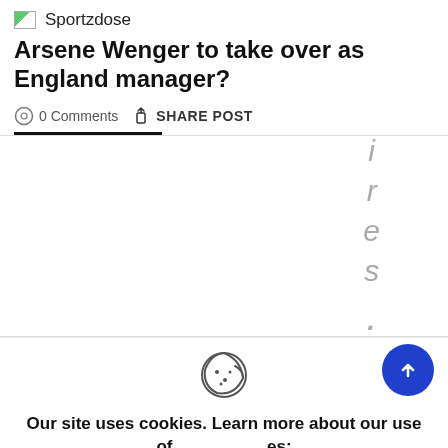Sportzdose
Arsene Wenger to take over as England manager?
0 Comments   SHARE POST
[Figure (other): Vertical italic letters spelling 'ires.' rotated/stacked vertically in gray on white background]
[Figure (other): Cookie consent banner with cookie icon, text 'Our site uses cookies. Learn more about our use of cookies: cookie policy', ACCEPT and REJECT buttons, and two blue circular FAB buttons (up arrow and edit/pen icon)]